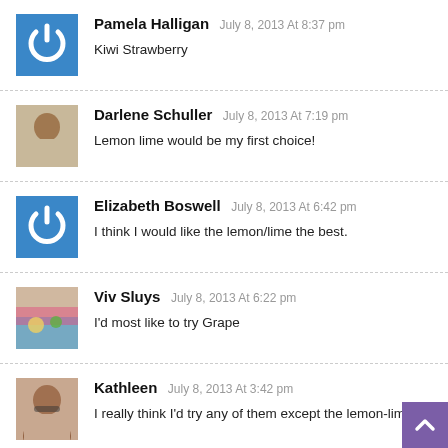Pamela Halligan July 8, 2013 At 8:37 pm — Kiwi Strawberry
Darlene Schuller July 8, 2013 At 7:19 pm — Lemon lime would be my first choice!
Elizabeth Boswell July 8, 2013 At 6:42 pm — I think I would like the lemon/lime the best.
Viv Sluys July 8, 2013 At 6:22 pm — I'd most like to try Grape
Kathleen July 8, 2013 At 3:42 pm — I really think I'd try any of them except the lemon-lime.